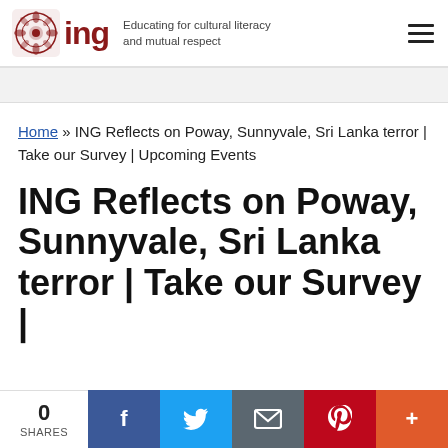ING — Educating for cultural literacy and mutual respect
Home » ING Reflects on Poway, Sunnyvale, Sri Lanka terror | Take our Survey | Upcoming Events
ING Reflects on Poway, Sunnyvale, Sri Lanka terror | Take our Survey |